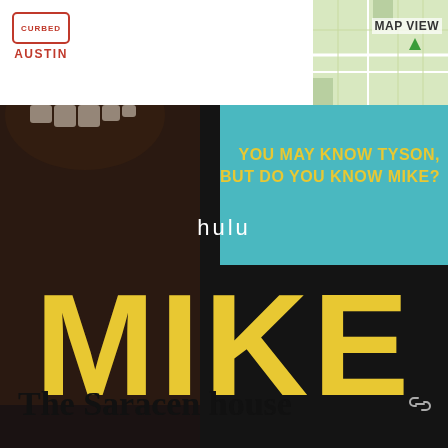CURBED AUSTIN
[Figure (screenshot): Hulu advertisement for the series MIKE. Dark background with large yellow text reading MIKE. Tagline: YOU MAY KNOW TYSON, BUT DO YOU KNOW MIKE? Shows hulu branding and WATCH NOW button. Text: ORIGINAL SERIES NEW EPISODES THURSDAYS.]
POWERED BY CONCERT    FEEDBACK
The Saracen house